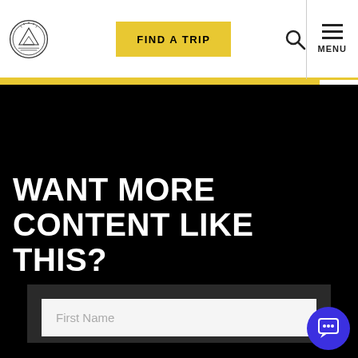Navigation bar with logo, FIND A TRIP button, search icon, and MENU
WANT MORE CONTENT LIKE THIS?
[Figure (screenshot): First Name input field inside a dark form area]
[Figure (illustration): Blue circular chat/support button in bottom right corner]